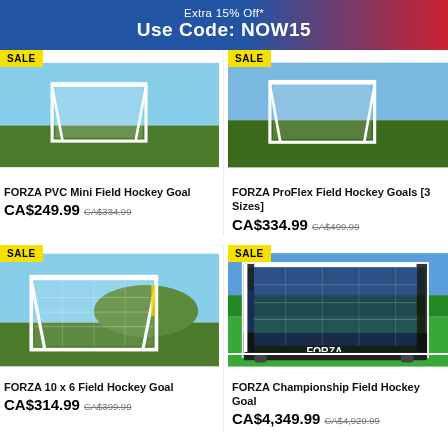Extra 15% Off* Use Code: NOW15
[Figure (photo): FORZA PVC Mini Field Hockey Goal product photo with SALE badge]
FORZA PVC Mini Field Hockey Goal
CA$249.99  CA$334.99
[Figure (photo): FORZA ProFlex Field Hockey Goals [3 Sizes] product photo with SALE badge]
FORZA ProFlex Field Hockey Goals [3 Sizes]
CA$334.99  CA$499.99
[Figure (photo): FORZA 10 x 6 Field Hockey Goal product photo with SALE badge]
FORZA 10 x 6 Field Hockey Goal
CA$314.99  CA$399.99
[Figure (photo): FORZA Championship Field Hockey Goal product photo with SALE badge]
FORZA Championship Field Hockey Goal
CA$4,349.99  CA$4,929.99